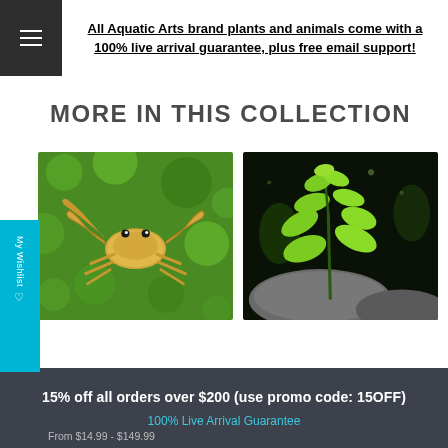All Aquatic Arts brand plants and animals come with a 100% live arrival guarantee, plus free email support!
MORE IN THIS COLLECTION
[Figure (photo): Photo of a yellow/white crab sitting on bright green aquatic moss]
[Figure (photo): Photo of green aquatic plant sprout growing from rocks against dark background]
15% off all orders over $200 (use promo code: 15OFF)
100% Live Arrival Guarantee